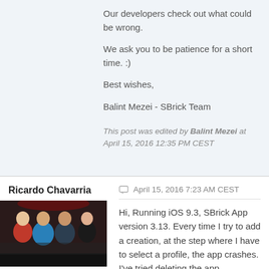Our developers check out what could be wrong.
We ask you to be patience for a short time. :)
Best wishes,
Balint Mezei - SBrick Team
This post was edited by Balint Mezei at April 15, 2016 12:35 PM CEST
Ricardo Chavarria
[Figure (photo): Group photo of people at a social event]
1 posts
April 15, 2016 7:23 AM CEST
Hi, Running iOS 9.3, SBrick App version 3.13. Every time I try to add a creation, at the step where I have to select a profile, the app crashes. I've tried deleting the app, restarting the phone, etc, but it always